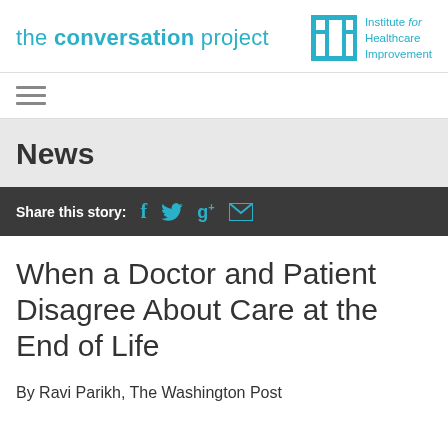the conversation project | Institute for Healthcare Improvement
[Figure (logo): The Conversation Project logo with text and IHI (Institute for Healthcare Improvement) teal logo mark]
News
Share this story:
When a Doctor and Patient Disagree About Care at the End of Life
By Ravi Parikh, The Washington Post